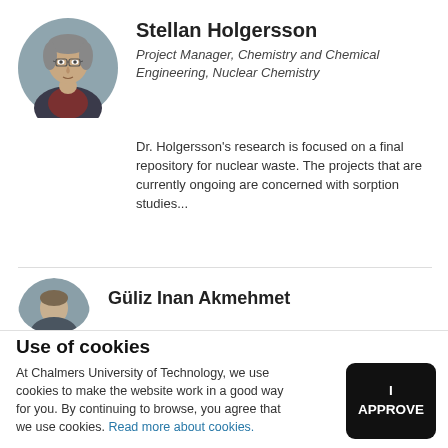[Figure (photo): Circular cropped headshot photo of Stellan Holgersson, a middle-aged man with glasses and slightly disheveled hair, wearing a dark jacket over a plaid shirt.]
Stellan Holgersson
Project Manager, Chemistry and Chemical Engineering, Nuclear Chemistry
Dr. Holgersson's research is focused on a final repository for nuclear waste. The projects that are currently ongoing are concerned with sorption studies...
[Figure (photo): Partially visible circular headshot photo of a second person, Güliz Inan Akmehmet.]
Güliz Inan Akmehmet
Use of cookies
At Chalmers University of Technology, we use cookies to make the website work in a good way for you. By continuing to browse, you agree that we use cookies. Read more about cookies.